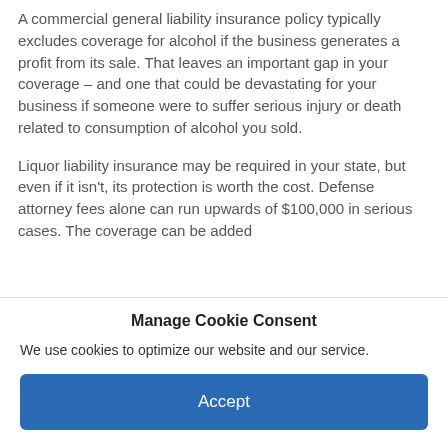A commercial general liability insurance policy typically excludes coverage for alcohol if the business generates a profit from its sale. That leaves an important gap in your coverage – and one that could be devastating for your business if someone were to suffer serious injury or death related to consumption of alcohol you sold.
Liquor liability insurance may be required in your state, but even if it isn't, its protection is worth the cost. Defense attorney fees alone can run upwards of $100,000 in serious cases. The coverage can be added
Manage Cookie Consent
We use cookies to optimize our website and our service.
Accept